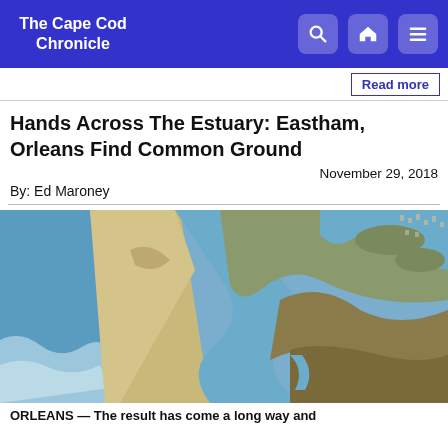The Cape Cod Chronicle
Read more
Hands Across The Estuary: Eastham, Orleans Find Common Ground
November 29, 2018
By: Ed Maroney
[Figure (photo): Aerial photograph of a coastal estuary with a sand barrier beach, tidal channels winding through salt marshes, ocean waves on the left, and coastal development visible in the upper right.]
ORLEANS — The result has come a long way and